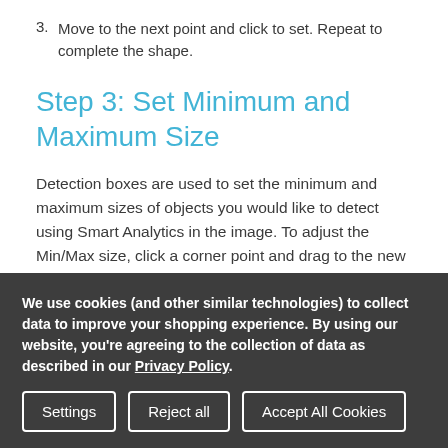3. Move to the next point and click to set. Repeat to complete the shape.
Step 3: Set Minimum and Maximum Size
Detection boxes are used to set the minimum and maximum sizes of objects you would like to detect using Smart Analytics in the image. To adjust the Min/Max size, click a corner point and drag to the new position.
Minimum Size
We use cookies (and other similar technologies) to collect data to improve your shopping experience. By using our website, you're agreeing to the collection of data as described in our Privacy Policy.